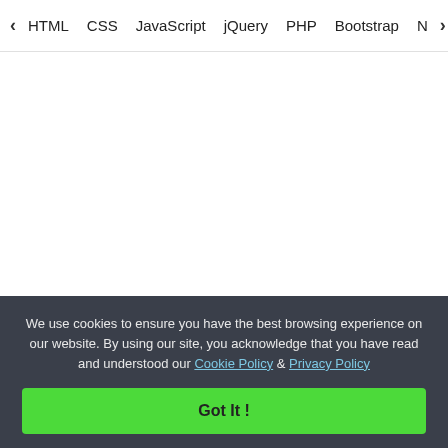< HTML  CSS  JavaScript  jQuery  PHP  Bootstrap  N>
[Figure (logo): GeeksforGeeks logo: green double-G symbol with 'GeeksforGeeks' text in dark navy]
A-143, 9th Floor, Sovereign Corporate Tower,
We use cookies to ensure you have the best browsing experience on our website. By using our site, you acknowledge that you have read and understood our Cookie Policy & Privacy Policy
Got It !